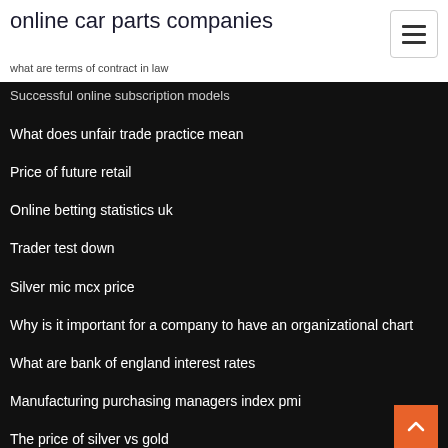online car parts companies
what are terms of contract in law
Successful online subscription models
What does unfair trade practice mean
Price of future retail
Online betting statistics uk
Trader test down
Silver mic mcx price
Why is it important for a company to have an organizational chart
What are bank of england interest rates
Manufacturing purchasing managers index pmi
The price of silver vs gold